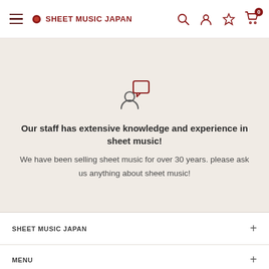SHEET MUSIC JAPAN
[Figure (illustration): Person with speech bubble icon — customer support / consultation icon in dark red outline style]
Our staff has extensive knowledge and experience in sheet music!
We have been selling sheet music for over 30 years. please ask us anything about sheet music!
SHEET MUSIC JAPAN +
MENU +
SUBSCRIBE TO NEWSLETTER